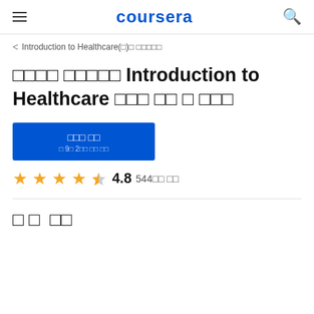coursera
< Introduction to Healthcare(□)□ □□□□□
□□□□ □□□□□ Introduction to Healthcare □□□ □□ □ □□□
□□□ □□
□ 9□ 2□□ □□ □□
4.8  544□□ □□
□ □ □□